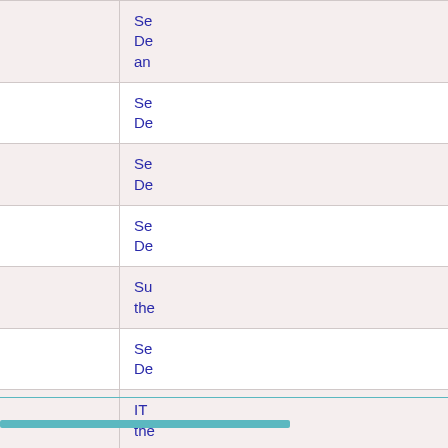| Contract/Reference | Description |
| --- | --- |
| EEAS-653-DIVSI3-SER-FWC | Se... De... an... |
| EEAS/DELNAMW/2019/CPN/0013 | Se... De... |
| EEAS/DELNAMW/2019/CPN/0052 | Se... De... |
| EEAS-659-DELMOZM-SER-FWC | Se... De... |
| EEAS/2019/OP/0005 | Su... the... |
| EEAS-660-DELARME-SER–FWC | Se... De... |
| EEAS-662-DELJPNT-SER-FWC | IT ... the... |
| EEAS-617-DELJORA-SER-FWC | Se... De... |
| EEAS-663-DELPERL-SER-FWC | Se... De... |
| EEAS-664-DELCHLS-SER-FWC | Se... De... |